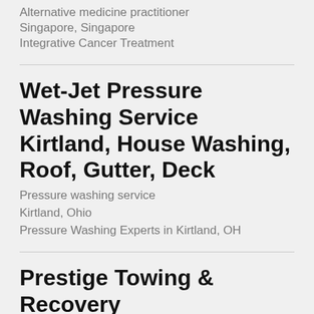Alternative medicine practitioner
Singapore, Singapore
Integrative Cancer Treatment
Wet-Jet Pressure Washing Service Kirtland, House Washing, Roof, Gutter, Deck
Pressure washing service
Kirtland, Ohio
Pressure Washing Experts in Kirtland, OH
Prestige Towing & Recovery
Towing service
Roebuck, South Carolina